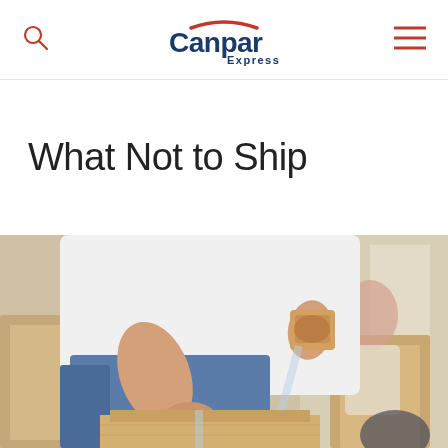Canpar Express
What Not to Ship
[Figure (photo): Person in white t-shirt and jeans taping a cardboard shipping box with a tape dispenser; another person visible in background; multiple cardboard boxes in room]